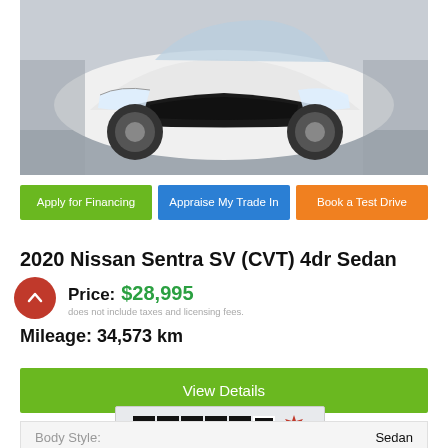[Figure (photo): Front view of a white 2020 Nissan Sentra SV sedan in a parking garage]
Apply for Financing
Appraise My Trade In
Book a Test Drive
2020 Nissan Sentra SV (CVT) 4dr Sedan
Price: $28,995
does not include taxes and licensing fees.
Mileage: 34,573 km
View Details
[Figure (logo): CARFAX Canada logo with VIEW REPORT button]
| Body Style: |  |
| --- | --- |
| Body Style: | Sedan |